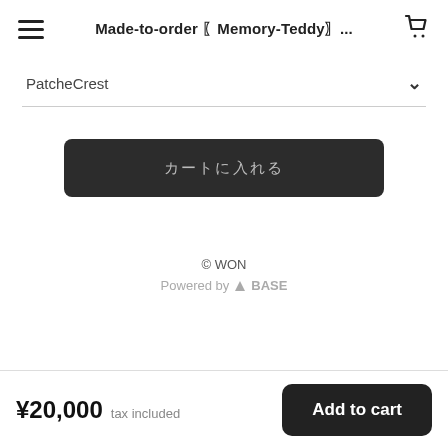Made-to-order 〖Memory-Teddy〗...
PatcheCrest
[Figure (other): Dark rounded button with Japanese text (カートに入れる placeholder)]
© WON
Powered by ▲BASE
¥20,000 tax included
Add to cart